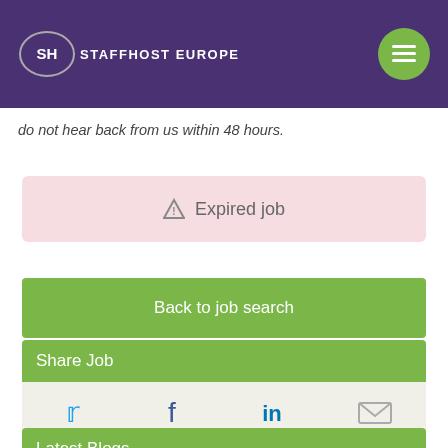STAFFHOST EUROPE
do not hear back from us within 48 hours.
Expired job
Back to job search
Share Job
Latest Blogs
Has the pandemic stopped you from changing